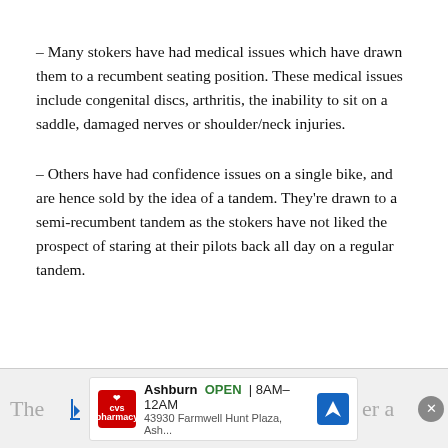– Many stokers have had medical issues which have drawn them to a recumbent seating position. These medical issues include congenital discs, arthritis, the inability to sit on a saddle, damaged nerves or shoulder/neck injuries.
– Others have had confidence issues on a single bike, and are hence sold by the idea of a tandem. They're drawn to a semi-recumbent tandem as the stokers have not liked the prospect of staring at their pilots back all day on a regular tandem.
The ... er a  |  CVS Ashburn OPEN 8AM–12AM 43930 Farmwell Hunt Plaza, Ash...